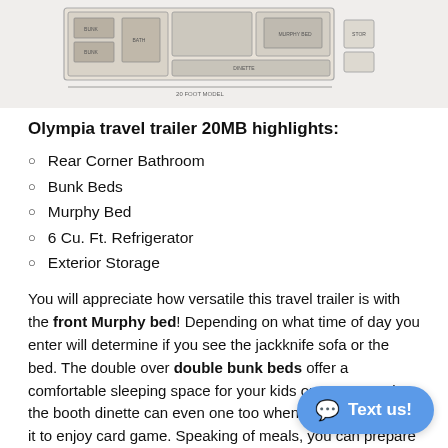[Figure (engineering-diagram): Floor plan schematic of the Olympia travel trailer 20MB showing layout of rooms including rear corner bathroom, bunk beds, Murphy bed, dinette, and storage areas.]
Olympia travel trailer 20MB highlights:
Rear Corner Bathroom
Bunk Beds
Murphy Bed
6 Cu. Ft. Refrigerator
Exterior Storage
You will appreciate how versatile this travel trailer is with the front Murphy bed! Depending on what time of day you enter will determine if you see the jackknife sofa or the bed. The double over double bunk beds offer a comfortable sleeping space for your kids or guests, and the booth dinette can even one too when you aren't using it to enjoy card game. Speaking of meals, you can prepare your best home cooked ones on the Athos burner...